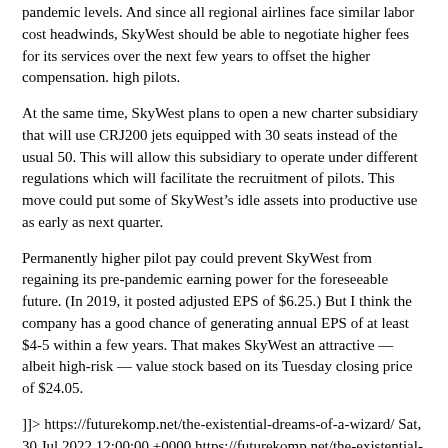pandemic levels. And since all regional airlines face similar labor cost headwinds, SkyWest should be able to negotiate higher fees for its services over the next few years to offset the higher compensation. high pilots.
At the same time, SkyWest plans to open a new charter subsidiary that will use CRJ200 jets equipped with 30 seats instead of the usual 50. This will allow this subsidiary to operate under different regulations which will facilitate the recruitment of pilots. This move could put some of SkyWest’s idle assets into productive use as early as next quarter.
Permanently higher pilot pay could prevent SkyWest from regaining its pre-pandemic earning power for the foreseeable future. (In 2019, it posted adjusted EPS of $6.25.) But I think the company has a good chance of generating annual EPS of at least $4-5 within a few years. That makes SkyWest an attractive — albeit high-risk — value stock based on its Tuesday closing price of $24.05.
]]> https://futurekomp.net/the-existential-dreams-of-a-wizard/ Sat, 30 Jul 2022 12:00:00 +0000 https://futurekomp.net/the-existential-dreams-of-a-wizard/
I recently landed a final interview for a dream job: senior research coordinator. In fact, I hadn’t dreamed of it, but it offered a way out